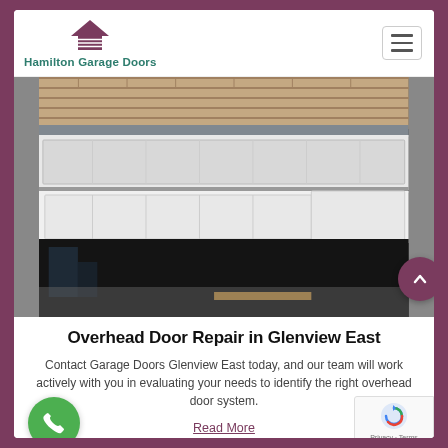Hamilton Garage Doors
[Figure (photo): A white garage door partially open, showing the interior of a garage with brick above and various items inside.]
Overhead Door Repair in Glenview East
Contact Garage Doors Glenview East today, and our team will work actively with you in evaluating your needs to identify the right overhead door system.
Read More